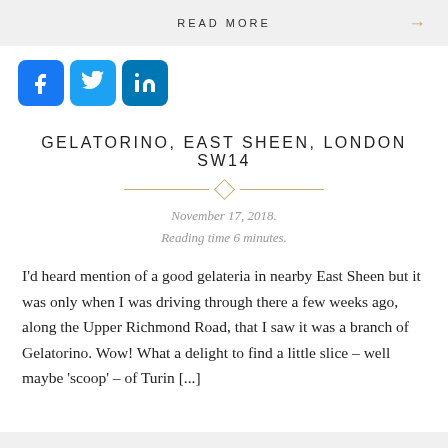READ MORE →
[Figure (other): Social media icons: Facebook, Twitter, LinkedIn]
GELATORINO, EAST SHEEN, LONDON SW14
November 17, 2018.
Reading time 6 minutes.
I'd heard mention of a good gelateria in nearby East Sheen but it was only when I was driving through there a few weeks ago, along the Upper Richmond Road, that I saw it was a branch of Gelatorino. Wow! What a delight to find a little slice – well maybe 'scoop' – of Turin [...]